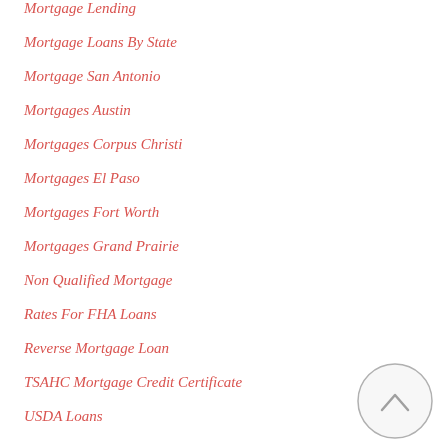Mortgage Lending
Mortgage Loans By State
Mortgage San Antonio
Mortgages Austin
Mortgages Corpus Christi
Mortgages El Paso
Mortgages Fort Worth
Mortgages Grand Prairie
Non Qualified Mortgage
Rates For FHA Loans
Reverse Mortgage Loan
TSAHC Mortgage Credit Certificate
USDA Loans
[Figure (other): Scroll-to-top button: circular button with upward caret symbol]